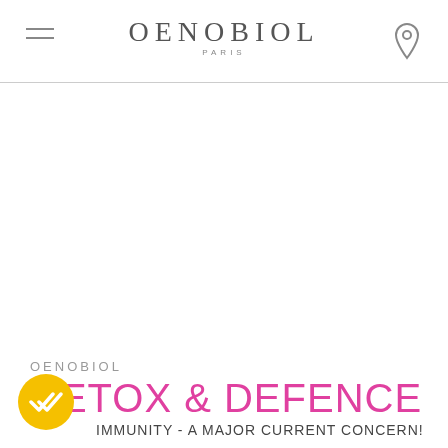[Figure (logo): Oenobiol Paris logo with hamburger menu icon on left and location pin icon on right]
OENOBIOL
DETOX & DEFENCE
IMMUNITY - A MAJOR CURRENT CONCERN!